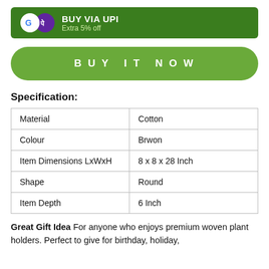[Figure (infographic): Green banner with Google Pay and PhonePe icons showing BUY VIA UPI with Extra 5% off]
BUY IT NOW
Specification:
| Material | Cotton |
| Colour | Brwon |
| Item Dimensions LxWxH | 8 x 8 x 28 Inch |
| Shape | Round |
| Item Depth | 6 Inch |
Great Gift Idea For anyone who enjoys premium woven plant holders. Perfect to give for birthday, holiday,